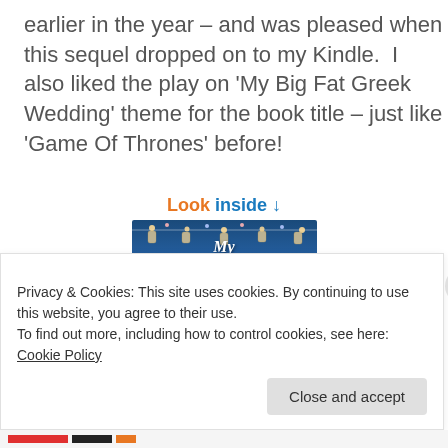earlier in the year – and was pleased when this sequel dropped on to my Kindle.  I also liked the play on 'My Big Fat Greek Wedding' theme for the book title – just like 'Game Of Thrones' before!
[Figure (illustration): Book cover image for 'My Big Fat Christmas Wedding' shown on Amazon with a 'Look inside' button above it. The cover shows fairy lights, lanterns, red cursive title text on a blue winter night sky background with snow scene at the bottom and a female figure.]
Privacy & Cookies: This site uses cookies. By continuing to use this website, you agree to their use.
To find out more, including how to control cookies, see here: Cookie Policy